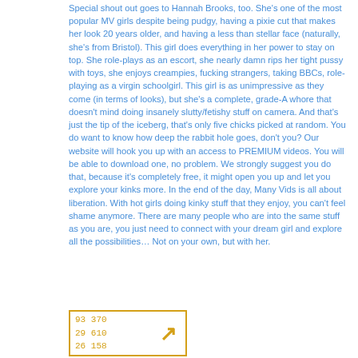Special shout out goes to Hannah Brooks, too. She's one of the most popular MV girls despite being pudgy, having a pixie cut that makes her look 20 years older, and having a less than stellar face (naturally, she's from Bristol). This girl does everything in her power to stay on top. She role-plays as an escort, she nearly damn rips her tight pussy with toys, she enjoys creampies, fucking strangers, taking BBCs, role-playing as a virgin schoolgirl. This girl is as unimpressive as they come (in terms of looks), but she's a complete, grade-A whore that doesn't mind doing insanely slutty/fetishy stuff on camera. And that's just the tip of the iceberg, that's only five chicks picked at random. You do want to know how deep the rabbit hole goes, don't you? Our website will hook you up with an access to PREMIUM videos. You will be able to download one, no problem. We strongly suggest you do that, because it's completely free, it might open you up and let you explore your kinks more. In the end of the day, Many Vids is all about liberation. With hot girls doing kinky stuff that they enjoy, you can't feel shame anymore. There are many people who are into the same stuff as you are, you just need to connect with your dream girl and explore all the possibilities… Not on your own, but with her.
[Figure (other): A rectangular badge with orange/gold border containing monospace numbers '93 370 / 29 610 / 26 158' on the left and an arrow symbol pointing upper-right on the right.]